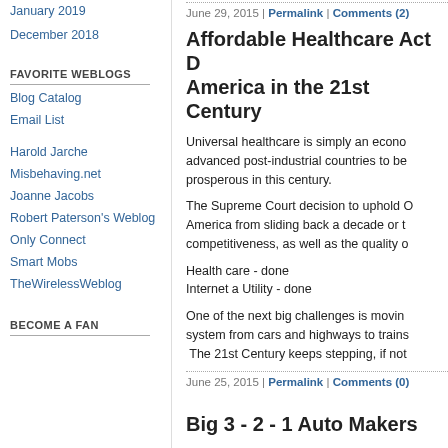January 2019
December 2018
FAVORITE WEBLOGS
Blog Catalog
Email List
Harold Jarche
Misbehaving.net
Joanne Jacobs
Robert Paterson's Weblog
Only Connect
Smart Mobs
TheWirelessWeblog
BECOME A FAN
June 29, 2015 | Permalink | Comments (2)
Affordable Healthcare Act D America in the 21st Century
Universal healthcare is simply an econo advanced post-industrial countries to be prosperous in this century.
The Supreme Court decision to uphold O America from sliding back a decade or t competitiveness, as well as the quality o
Health care - done
Internet a Utility - done
One of the next big challenges is movin system from cars and highways to trains The 21st Century keeps stepping, if not
June 25, 2015 | Permalink | Comments (0)
Big 3 - 2 - 1 Auto Makers